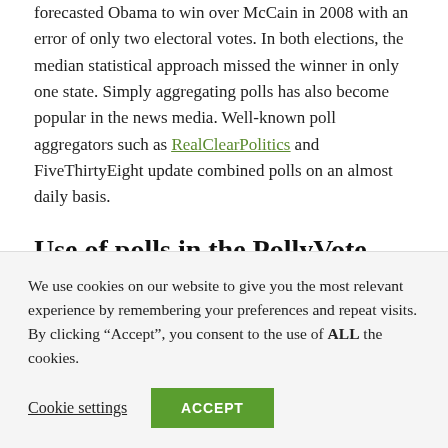forecasted Obama to win over McCain in 2008 with an error of only two electoral votes. In both elections, the median statistical approach missed the winner in only one state. Simply aggregating polls has also become popular in the news media. Well-known poll aggregators such as RealClearPolitics and FiveThirtyEight update combined polls on an almost daily basis.
Use of polls in the PollyVote
The PollyVote relies on poll aggregators to calculate the combined polls component forecast through simple
We use cookies on our website to give you the most relevant experience by remembering your preferences and repeat visits. By clicking “Accept”, you consent to the use of ALL the cookies.
Cookie settings | ACCEPT